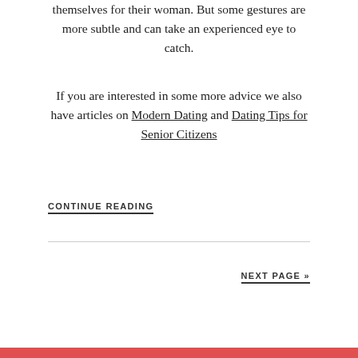themselves for their woman. But some gestures are more subtle and can take an experienced eye to catch.
If you are interested in some more advice we also have articles on Modern Dating and Dating Tips for Senior Citizens
CONTINUE READING
NEXT PAGE »